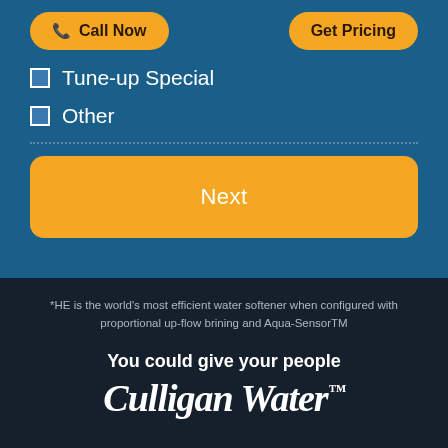[Figure (screenshot): Call Now and Get Pricing buttons on blue background]
Tune-up Special
Other
Next
*HE is the world's most efficient water softener when configured with proportional up-flow brining and Aqua-SensorTM
You could give your people
Culligan Water™